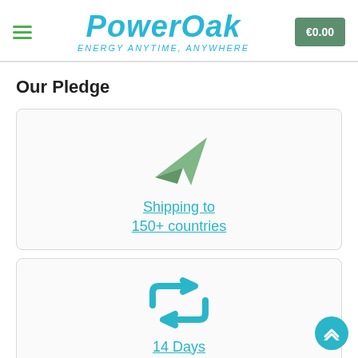PowerOak — ENERGY ANYTIME, ANYWHERE | €0.00
Our Pledge
[Figure (illustration): Paper airplane icon in green, representing shipping]
Shipping to 150+ countries
[Figure (illustration): Retweet/return arrows icon in teal, representing 14 Days returns]
14 Days